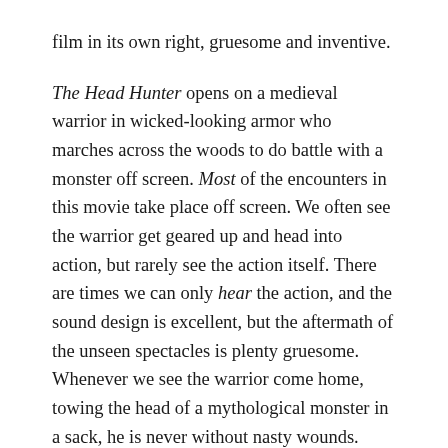film in its own right, gruesome and inventive.
The Head Hunter opens on a medieval warrior in wicked-looking armor who marches across the woods to do battle with a monster off screen. Most of the encounters in this movie take place off screen. We often see the warrior get geared up and head into action, but rarely see the action itself. There are times we can only hear the action, and the sound design is excellent, but the aftermath of the unseen spectacles is plenty gruesome. Whenever we see the warrior come home, towing the head of a mythological monster in a sack, he is never without nasty wounds.
Yes, the real reason the action takes place off screen is the filmmakers probably couldn't afford to shoot it. But